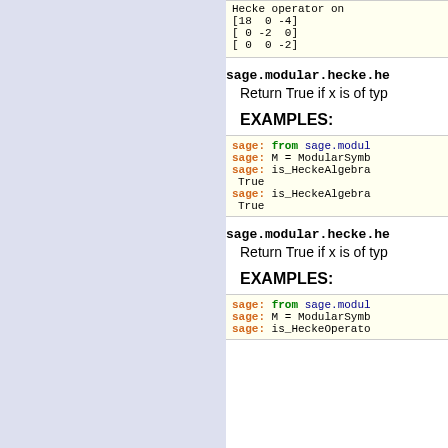[Figure (other): Code block showing Hecke operator matrix output: [18 0 -4], [ 0 -2 0], [ 0  0 -2]]
sage.modular.hecke.he...
Return True if x is of typ...
EXAMPLES:
[Figure (screenshot): Code block with sage: from sage.modul..., sage: M = ModularSymb..., sage: is_HeckeAlgebra..., True, sage: is_HeckeAlgebra..., True]
sage.modular.hecke.he...
Return True if x is of typ...
EXAMPLES:
[Figure (screenshot): Code block with sage: from sage.modul..., sage: M = ModularSymb..., sage: is_HeckeOperato...]